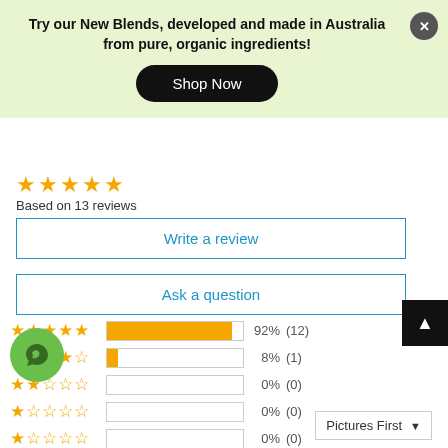Try our New Blends, developed and made in Australia from pure, organic ingredients!
Shop Now
[Figure (other): Five gold stars rating]
Based on 13 reviews
Write a review
Ask a question
[Figure (bar-chart): Rating distribution]
Pictures First ▼